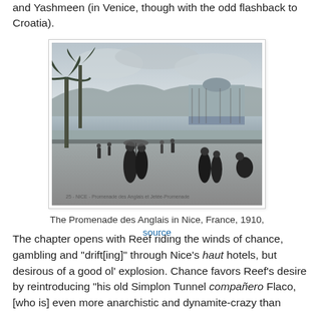and Yashmeen (in Venice, though with the odd flashback to Croatia).
[Figure (photo): Black and white historical photograph of the Promenade des Anglais in Nice, France, 1910. People in Victorian-era clothing walk along a wide promenade beside the sea. A domed building (casino or pier structure) is visible in the background on the right, with palm trees on the left.]
The Promenade des Anglais in Nice, France, 1910, source
The chapter opens with Reef riding the winds of chance, gambling and "drift[ing]" through Nice's haut hotels, but desirous of a good ol' explosion. Chance favors Reef's desire by reintroducing "his old Simplon Tunnel compañero Flaco, [who is] even more anarchistic and dynamite-crazy than before" (849). The two recollect old times and discuss Flaco's recent dealing's with Frank, whose message that